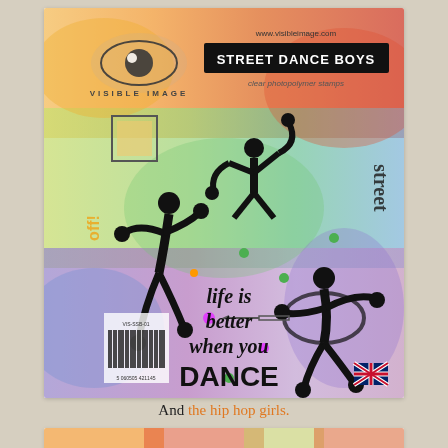[Figure (photo): Product packaging image for 'Street Dance Boys' clear photopolymer stamps by Visible Image. Shows silhouettes of three breakdancing/street dancing male figures on a colorful watercolor background with text elements including 'street', 'off!', 'life is better when you DANCE', a barcode, website URL www.visibleimage.com, and a UK flag icon.]
And the hip hop girls.
[Figure (photo): Partial view of a second Visible Image stamp product packaging, showing the top portion with colorful watercolor background and website URL www.visibleimage.com.]